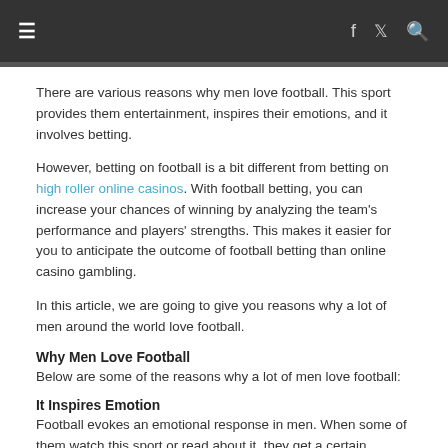≡   f  🐦  🔍
There are various reasons why men love football. This sport provides them entertainment, inspires their emotions, and it involves betting.
However, betting on football is a bit different from betting on high roller online casinos. With football betting, you can increase your chances of winning by analyzing the team's performance and players' strengths. This makes it easier for you to anticipate the outcome of football betting than online casino gambling.
In this article, we are going to give you reasons why a lot of men around the world love football.
Why Men Love Football
Below are some of the reasons why a lot of men love football:
It Inspires Emotion
Football evokes an emotional response in men. When some of them watch this sport or read about it, they get a certain emotional